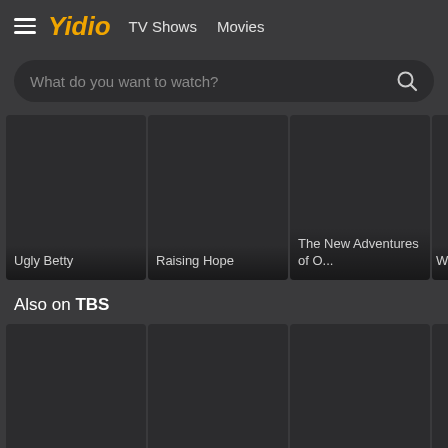Yidio  TV Shows  Movies
[Figure (screenshot): Search bar with placeholder text 'What do you want to watch?' and search icon]
[Figure (screenshot): Grid of TV show thumbnails: Ugly Betty, Raising Hope, The New Adventures of O..., and a partially visible fourth card]
Also on TBS
[Figure (screenshot): Grid of TBS show thumbnails, partially visible at bottom of page]